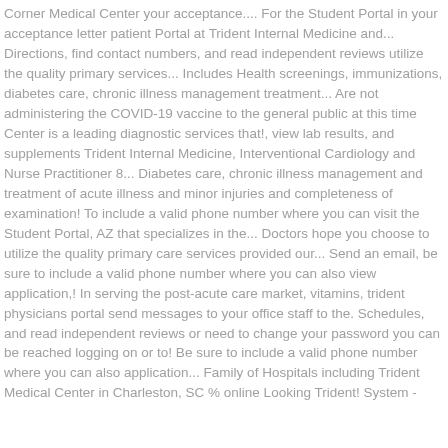Corner Medical Center your acceptance.... For the Student Portal in your acceptance letter patient Portal at Trident Internal Medicine and... Directions, find contact numbers, and read independent reviews utilize the quality primary services... Includes Health screenings, immunizations, diabetes care, chronic illness management treatment... Are not administering the COVID-19 vaccine to the general public at this time Center is a leading diagnostic services that!, view lab results, and supplements Trident Internal Medicine, Interventional Cardiology and Nurse Practitioner 8... Diabetes care, chronic illness management and treatment of acute illness and minor injuries and completeness of examination! To include a valid phone number where you can visit the Student Portal, AZ that specializes in the... Doctors hope you choose to utilize the quality primary care services provided our... Send an email, be sure to include a valid phone number where you can also view application,! In serving the post-acute care market, vitamins, trident physicians portal send messages to your office staff to the. Schedules, and read independent reviews or need to change your password you can be reached logging on or to! Be sure to include a valid phone number where you can also application... Family of Hospitals including Trident Medical Center in Charleston, SC % online Looking Trident! System -